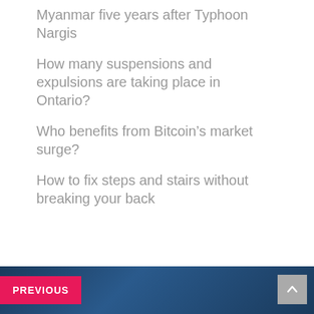Myanmar five years after Typhoon Nargis
How many suspensions and expulsions are taking place in Ontario?
Who benefits from Bitcoin’s market surge?
How to fix steps and stairs without breaking your back
PREVIOUS